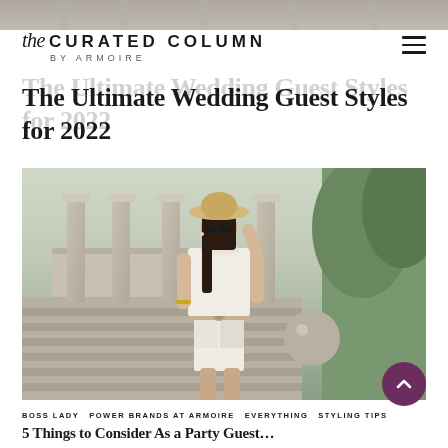[Figure (photo): Top strip showing partial outdoor/architectural image at top of page]
the CURATED COLUMN BY ARMOIRE
The Ultimate Wedding Guest Styles for 2022
[Figure (photo): Woman wearing white shorts, sleeveless white top, tan wide-brim hat and sunglasses, standing on stone steps of an elegant outdoor venue with columns and greenery]
BOSS LADY  POWER BRANDS AT ARMOIRE  EVERYTHING  STYLING TIPS
5 Things to Consider As a Party Guest...